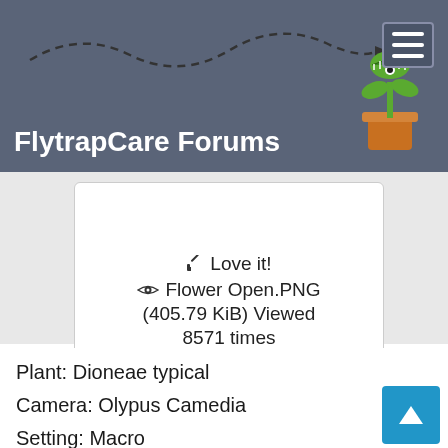FlytrapCare Forums
[Figure (screenshot): Image card showing a photo placeholder with pencil icon 'Love it!', eye icon 'Flower Open.PNG (405.79 KiB) Viewed 8571 times']
Plant: Dioneae typical
Camera: Olypus Camedia
Setting: Macro
Country of residence: England EU
Time i've owned the plant: Years
Chances of winning: Zilch!